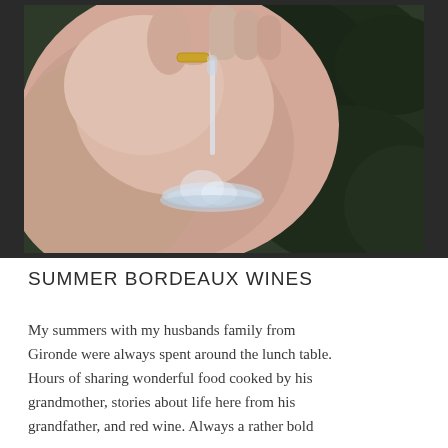[Figure (photo): A hand holding a wine glass by the stem, turned upside down. The hand shows a gold ring on one finger. The background shows dark green foliage/hedges. The image is framed with dark borders on the sides.]
SUMMER BORDEAUX WINES
My summers with my husbands family from Gironde were always spent around the lunch table. Hours of sharing wonderful food cooked by his grandmother, stories about life here from his grandfather, and red wine. Always a rather bold